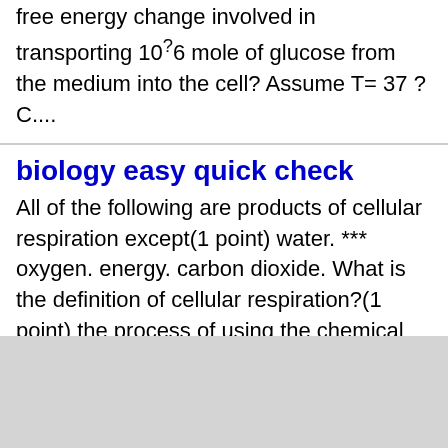free energy change involved in transporting 10?6 mole of glucose from the medium into the cell? Assume T= 37 ?C....
biology easy quick check
All of the following are products of cellular respiration except(1 point) water. *** oxygen. energy. carbon dioxide. What is the definition of cellular respiration?(1 point) the process of using the chemical energy from hydrogen and oxygen molecules to...